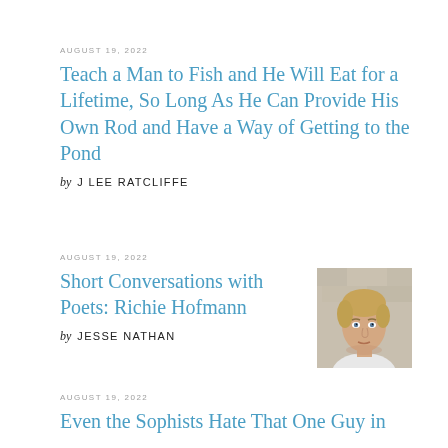AUGUST 19, 2022
Teach a Man to Fish and He Will Eat for a Lifetime, So Long As He Can Provide His Own Rod and Have a Way of Getting to the Pond
by J LEE RATCLIFFE
AUGUST 19, 2022
Short Conversations with Poets: Richie Hofmann
[Figure (photo): Headshot of a young blond man looking at the camera, in front of a stone or concrete background.]
by JESSE NATHAN
AUGUST 19, 2022
Even the Sophists Hate That One Guy in